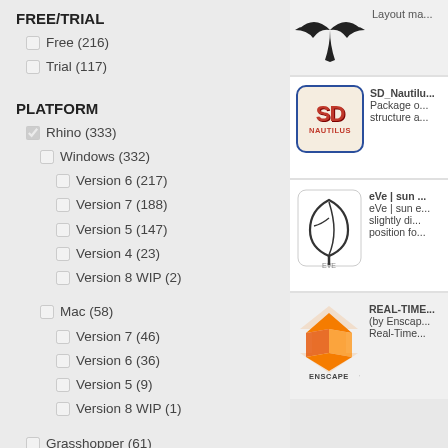FREE/TRIAL
Free (216)
Trial (117)
PLATFORM
Rhino (333) [checked]
Windows (332)
Version 6 (217)
Version 7 (188)
Version 5 (147)
Version 4 (23)
Version 8 WIP (2)
Mac (58)
Version 7 (46)
Version 6 (36)
Version 5 (9)
Version 8 WIP (1)
Grasshopper (61)
Windows (61)
Version 6 (48)
[Figure (illustration): Bird silhouette logo (top right, partially visible)]
Layout ma...
[Figure (logo): SD Nautilus logo - red SD text on beige background with blue border]
SD_Nautilu... Package o... structure a...
[Figure (logo): eVe logo - leaf/teardrop outline with EVE text below]
eVe | sun ... eVe | sun e... slightly di... position fo...
[Figure (logo): Enscape logo - orange geometric diamond/envelope shape with ENSCAPE text]
REAL-TIME... (by Enscap... Real-Time...